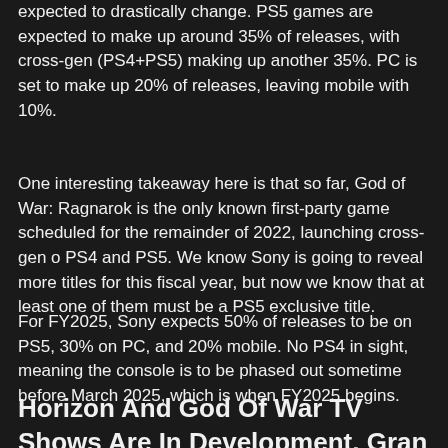expected to drastically change. PS5 games are expected to make up around 35% of releases, with cross-gen (PS4+PS5) making up another 35%. PC is set to make up 20% of releases, leaving mobile with 10%.
One interesting takeaway here is that so far, God of War: Ragnarok is the only known first-party game scheduled for the remainder of 2022, launching cross-gen o PS4 and PS5. We know Sony is going to reveal more titles for this fiscal year, but now we know that at least one of them must be a PS5 exclusive title.
For FY2025, Sony expects 50% of releases to be on PS5, 30% on PC, and 20% mobile. No PS4 in sight, meaning the console is to be phased out sometime before March 2025, which is when FY2025 begins.
Horizon And God Of War TV Shows Are In Development, Gran Turismo To